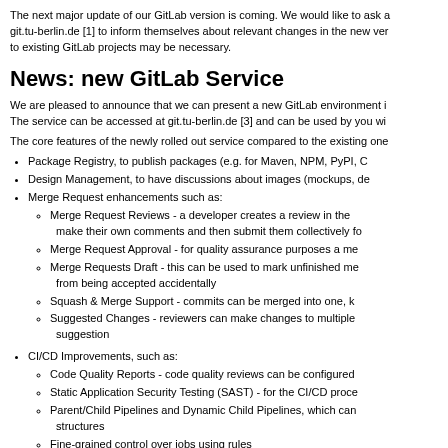The next major update of our GitLab version is coming. We would like to ask a git.tu-berlin.de [1] to inform themselves about relevant changes in the new ver to existing GitLab projects may be necessary.
News: new GitLab Service
We are pleased to announce that we can present a new GitLab environment i The service can be accessed at git.tu-berlin.de [3] and can be used by you wi
The core features of the newly rolled out service compared to the existing one
Package Registry, to publish packages (e.g. for Maven, NPM, PyPI, C
Design Management, to have discussions about images (mockups, de
Merge Request enhancements such as:
Merge Request Reviews - a developer creates a review in the make their own comments and then submit them collectively fo
Merge Request Approval - for quality assurance purposes a me
Merge Requests Draft - this can be used to mark unfinished me from being accepted accidentally
Squash & Merge Support - commits can be merged into one, k
Suggested Changes - reviewers can make changes to multiple suggestion
CI/CD Improvements, such as:
Code Quality Reports - code quality reviews can be configured
Static Application Security Testing (SAST) - for the CI/CD proce
Parent/Child Pipelines and Dynamic Child Pipelines, which can structures
Fine-grained control over jobs using rules